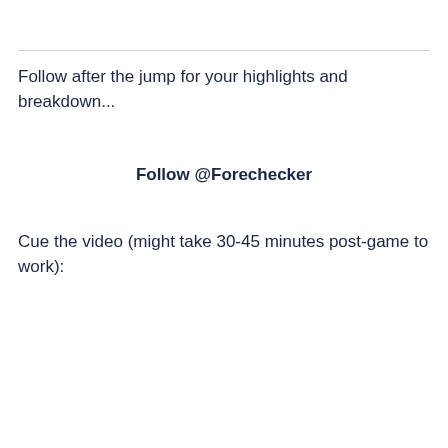Follow after the jump for your highlights and breakdown...
Follow @Forechecker
Cue the video (might take 30-45 minutes post-game to work):